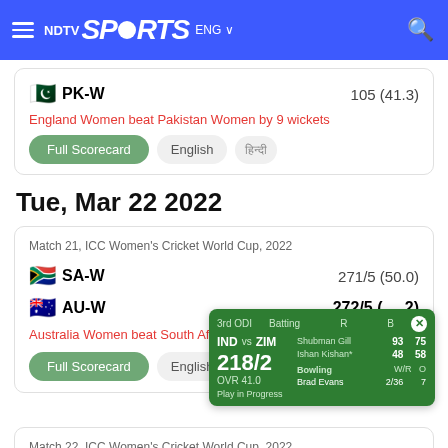NDTV Sports ENG
PK-W   105 (41.3)
England Women beat Pakistan Women by 9 wickets
Full Scorecard   English   हिन्दी
Tue, Mar 22 2022
Match 21, ICC Women's Cricket World Cup, 2022
SA-W   271/5 (50.0)
AU-W   272/5 (49.2)
Australia Women beat South Africa W...
Full Scorecard   English
[Figure (infographic): Live cricket score widget: 3rd ODI, IND vs ZIM, 218/2 OVR 41.0, Play in Progress. Batting: Shubman Gill 93(75), Ishan Kishan* 48(58). Bowling: Brad Evans 2/36 in 7 overs.]
Match 22, ICC Women's Cricket World Cup, 2022